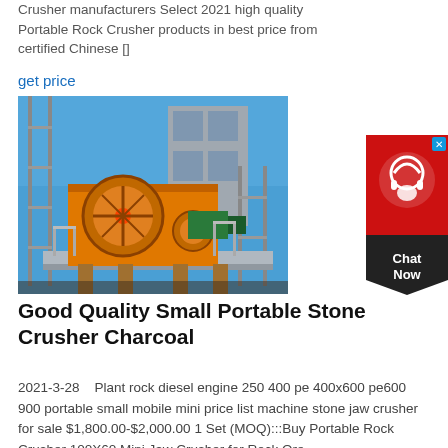Crusher manufacturers Select 2021 high quality Portable Rock Crusher products in best price from certified Chinese []
get price
[Figure (photo): Large orange jaw crusher machine mounted on scaffolding structure against a blue sky background]
[Figure (other): Red chat widget button with headset icon and 'Chat Now' text]
Good Quality Small Portable Stone Crusher Charcoal
2021-3-28   Plant rock diesel engine 250 400 pe 400x600 pe600 900 portable small mobile mini price list machine stone jaw crusher for sale $1,800.00-$2,000.00 1 Set (MOQ):::Buy Portable Rock Crusher 100X60 Mini Jaw Crusher for Rock Ore